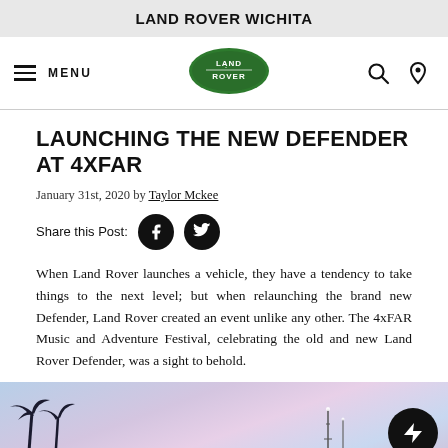LAND ROVER WICHITA
[Figure (logo): Land Rover oval green logo with LAND-ROVER text, navigation bar with hamburger menu, MENU text, search icon, and location pin icon]
LAUNCHING THE NEW DEFENDER AT 4XFAR
January 31st, 2020 by Taylor Mckee
Share this Post: [Facebook icon] [Twitter icon]
When Land Rover launches a vehicle, they have a tendency to take things to the next level; but when relaunching the brand new Defender, Land Rover created an event unlike any other. The 4xFAR Music and Adventure Festival, celebrating the old and new Land Rover Defender, was a sight to behold.
[Figure (photo): Outdoor photo with palm tree silhouettes against a pastel purple and blue sky at dusk or dawn, with communication towers visible in the background]